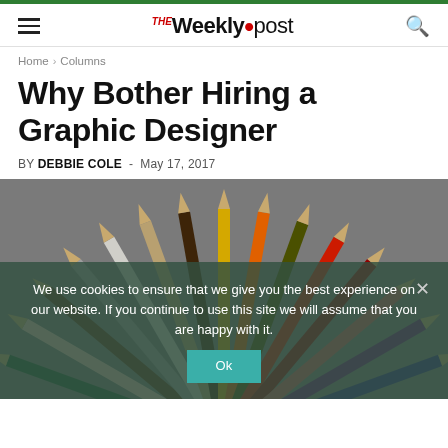THE Weekly•post
Home › Columns
Why Bother Hiring a Graphic Designer
BY DEBBIE COLE - May 17, 2017
[Figure (photo): Fan of colorful pencils arranged in a circular pattern, tips pointing toward center, shot from above on a grey background]
We use cookies to ensure that we give you the best experience on our website. If you continue to use this site we will assume that you are happy with it.